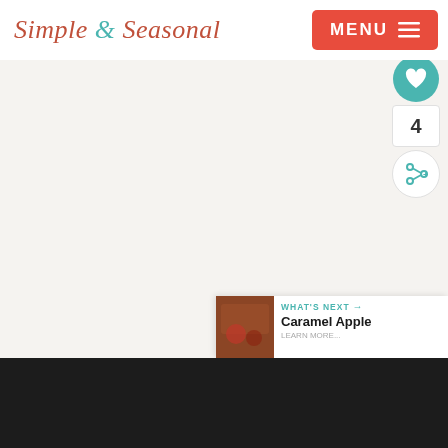Simple & Seasonal
[Figure (photo): Large light-colored main image area, mostly blank/white with a faint placeholder watermark in center]
4
WHAT'S NEXT → Caramel Apple